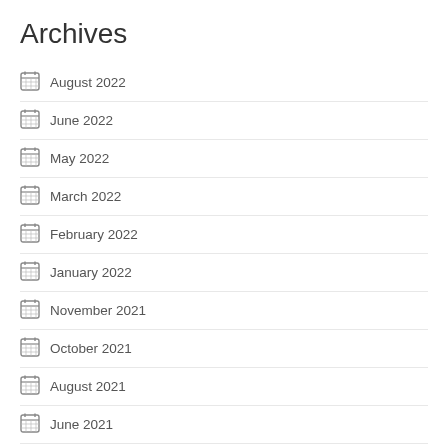Archives
August 2022
June 2022
May 2022
March 2022
February 2022
January 2022
November 2021
October 2021
August 2021
June 2021
May 2021
March 2021